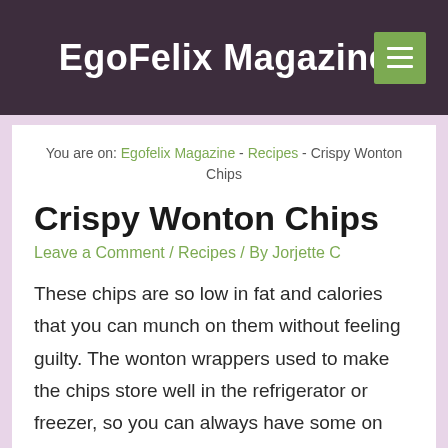EgoFelix Magazine
You are on: Egofelix Magazine - Recipes - Crispy Wonton Chips
Crispy Wonton Chips
Leave a Comment / Recipes / By Jorjette C
These chips are so low in fat and calories that you can munch on them without feeling guilty. The wonton wrappers used to make the chips store well in the refrigerator or freezer, so you can always have some on hand to satisfy your chip cravings.